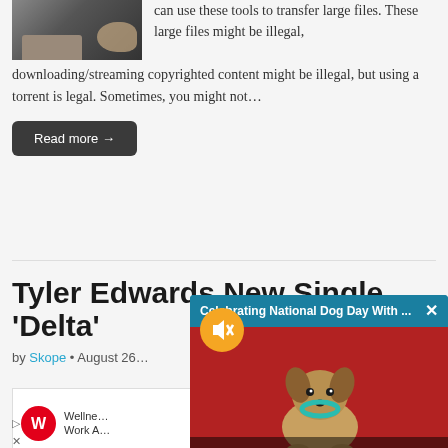[Figure (photo): Photo of hands on a laptop keyboard]
can use these tools to transfer large files. These large files might be illegal, downloading/streaming copyrighted content might be illegal, but using a torrent is legal. Sometimes, you might not…
Read more →
Tyler Edwards New Single 'Delta'
by Skope • August 26…
[Figure (screenshot): Popup overlay showing 'Celebrating National Dog Day With …' with an X close button and a photo of a small Yorkshire Terrier dog on a red background, with a mute button overlay]
[Figure (photo): Walgreens advertisement showing wellness at work theme]